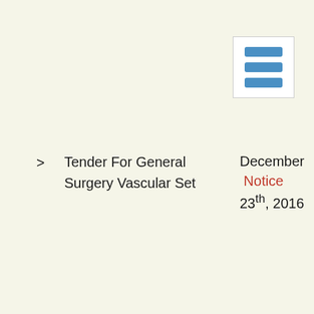[Figure (other): Menu icon with three horizontal blue bars in a white bordered box]
> Tender For General Surgery Vascular Set   December 23th, 2016  Notice